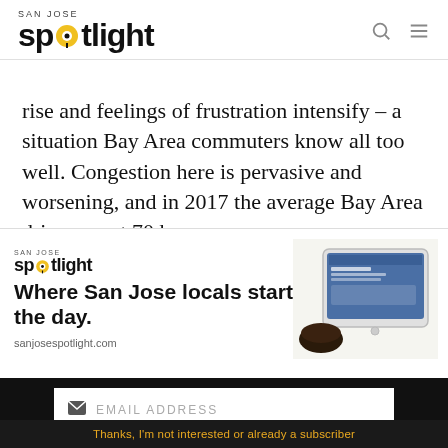San Jose Spotlight
rise and feelings of frustration intensify – a situation Bay Area commuters know all too well. Congestion here is pervasive and worsening, and in 2017 the average Bay Area driver spent 70 hours
[Figure (screenshot): San Jose Spotlight advertisement popup with logo, tagline 'Where San Jose locals start the day.', sanjosespotlight.com URL, and an image of a tablet with coffee]
EMAIL ADDRESS
SUBSCRIBE
Thanks, I'm not interested or already a subscriber